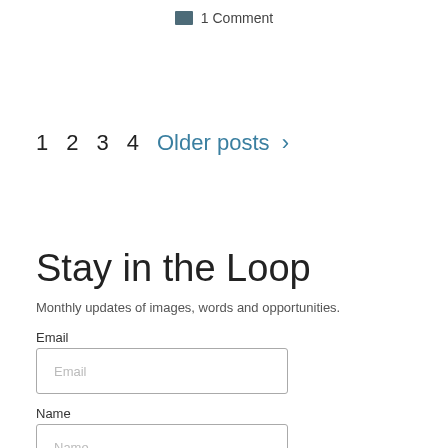1 Comment
1  2  3  4  Older posts  >
Stay in the Loop
Monthly updates of images, words and opportunities.
Email
Name